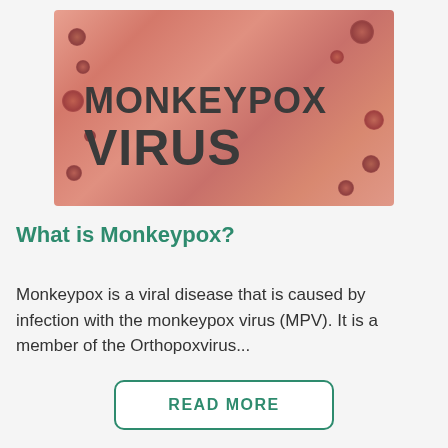[Figure (photo): Close-up photo of skin with monkeypox lesions/bumps, with bold dark text overlay reading 'MONKEYPOX VIRUS']
What is Monkeypox?
Monkeypox is a viral disease that is caused by infection with the monkeypox virus (MPV). It is a member of the Orthopoxvirus...
READ MORE